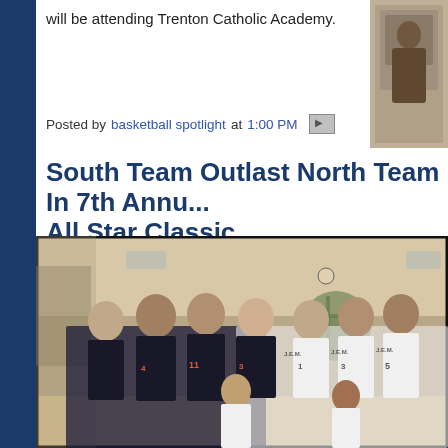will be attending Trenton Catholic Academy.
Posted by basketball spotlight at 1:00 PM
South Team Outlast North Team In 7th Annu... All Star Classic
[Figure (photo): Group photo of two basketball teams in a gymnasium, one team in dark navy/orange uniforms and one in white/orange uniforms labeled J.E.M., posing together for a team photo]